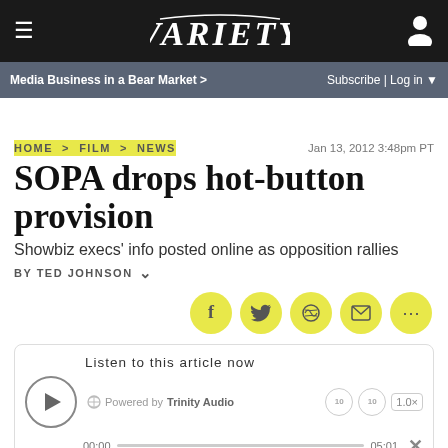VARIETY
Media Business in a Bear Market > | Subscribe | Log in
HOME > FILM > NEWS
Jan 13, 2012 3:48pm PT
SOPA drops hot-button provision
Showbiz execs' info posted online as opposition rallies
By Ted Johnson
[Figure (screenshot): Social sharing buttons: Facebook, Twitter, Reddit, Email, More (...)]
[Figure (screenshot): Audio player widget: 'Listen to this article now', Powered by Trinity Audio, play button, seek bar, time 00:00 / 05:01, speed 1.0x, close X]